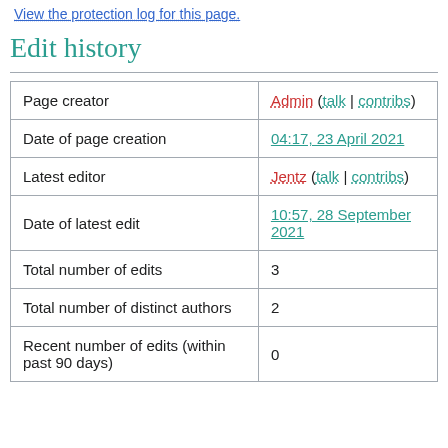View the protection log for this page.
Edit history
|  |  |
| --- | --- |
| Page creator | Admin (talk | contribs) |
| Date of page creation | 04:17, 23 April 2021 |
| Latest editor | Jentz (talk | contribs) |
| Date of latest edit | 10:57, 28 September 2021 |
| Total number of edits | 3 |
| Total number of distinct authors | 2 |
| Recent number of edits (within past 90 days) | 0 |